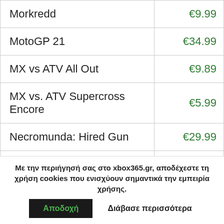| Game | Price |
| --- | --- |
| Morkredd | €9.99 |
| MotoGP 21 | €34.99 |
| MX vs ATV All Out | €9.89 |
| MX vs. ATV Supercross Encore | €5.99 |
| Necromunda: Hired Gun | €29.99 |
| Need for Speed Rivals | €4.99 |
| Need for Speed | €4.99 |
| Need for Speed Heat | €17.49 |
Με την περιήγησή σας στο xbox365.gr, αποδέχεστε τη χρήση cookies που ενισχύουν σημαντικά την εμπειρία χρήσης.
Αποδοχή   Διάβασε περισσότερα